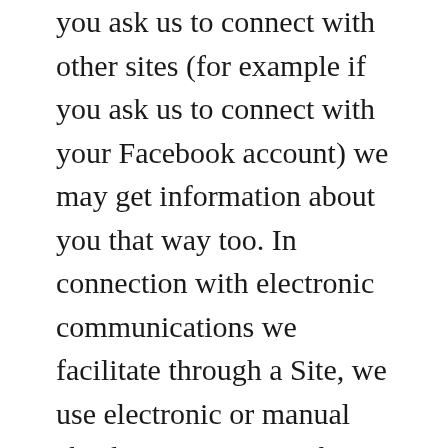you ask us to connect with other sites (for example if you ask us to connect with your Facebook account) we may get information about you that way too. In connection with electronic communications we facilitate through a Site, we use electronic or manual checks to monitor such communications for trust and security purposes. For further details on how we collect personal data, see Surveys